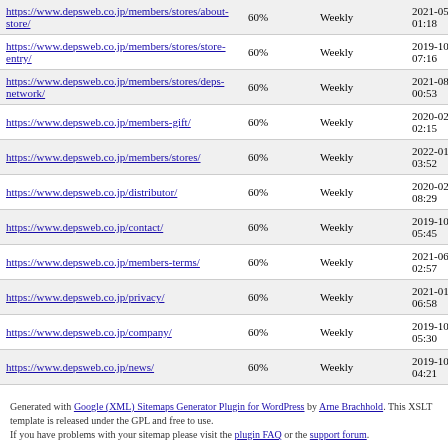| https://www.depsweb.co.jp/members/stores/about-store/ | 60% | Weekly | 2021-05-01:18 |
| https://www.depsweb.co.jp/members/stores/store-entry/ | 60% | Weekly | 2019-10-07:16 |
| https://www.depsweb.co.jp/members/stores/deps-network/ | 60% | Weekly | 2021-08-00:53 |
| https://www.depsweb.co.jp/members-gift/ | 60% | Weekly | 2020-02-02:15 |
| https://www.depsweb.co.jp/members/stores/ | 60% | Weekly | 2022-01-03:52 |
| https://www.depsweb.co.jp/distributor/ | 60% | Weekly | 2020-02-08:29 |
| https://www.depsweb.co.jp/contact/ | 60% | Weekly | 2019-10-05:45 |
| https://www.depsweb.co.jp/members-terms/ | 60% | Weekly | 2021-06-02:57 |
| https://www.depsweb.co.jp/privacy/ | 60% | Weekly | 2021-01-06:58 |
| https://www.depsweb.co.jp/company/ | 60% | Weekly | 2019-10-05:30 |
| https://www.depsweb.co.jp/news/ | 60% | Weekly | 2019-10-04:21 |
Generated with Google (XML) Sitemaps Generator Plugin for WordPress by Arne Brachhold. This XSLT template is released under the GPL and free to use.
If you have problems with your sitemap please visit the plugin FAQ or the support forum.